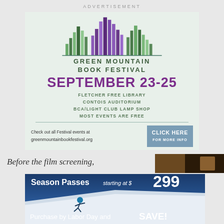ADVERTISEMENT
[Figure (infographic): Green Mountain Book Festival advertisement with mountain/book spine logo in greens and purples. Text: GREEN MOUNTAIN BOOK FESTIVAL, SEPTEMBER 23-25, FLETCHER FREE LIBRARY, CONTOIS AUDITORIUM, BCA/LIGHT CLUB LAMP SHOP, MOST EVENTS ARE FREE. Bottom: Check out all Festival events at greenmountainbookfestival.org | CLICK HERE FOR MORE INFO button]
Before the film screening,
[Figure (photo): Dark brown interior photo thumbnail]
[Figure (infographic): Ski resort advertisement: Season Passes starting at $299. Image of skier on snowy slope. Purchase by Labor Day and SAVE!]